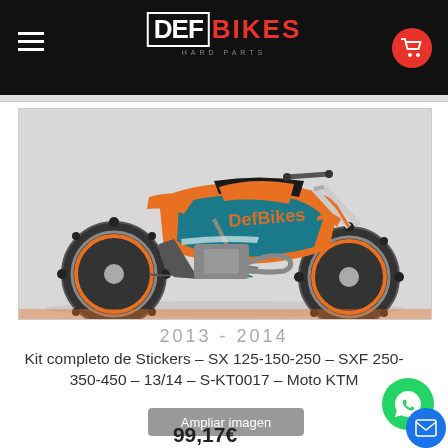DEF BIKES - motorcycle sticker kits store
[Figure (photo): KTM motocross/dirt bike with orange and teal DefBikes sticker kit, side view showing full bike with knobby tires]
2013 - 2014
Kit completo de Stickers – SX 125-150-250 – SXF 250-350-450 – 13/14 – S-KT0017 – Moto KTM
Ampliar imagen
99,17€